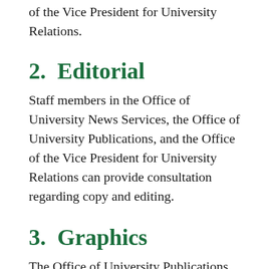of the Vice President for University Relations.
2.  Editorial
Staff members in the Office of University News Services, the Office of University Publications, and the Office of the Vice President for University Relations can provide consultation regarding copy and editing.
3.  Graphics
The Office of University Publications has developed some basic mastheads and designs for newsletters and can